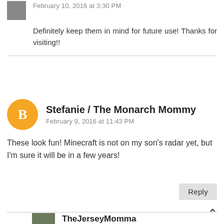February 10, 2016 at 3:30 PM
Definitely keep them in mind for future use! Thanks for visiting!!
Stefanie / The Monarch Mommy
February 9, 2016 at 11:43 PM
These look fun! Minecraft is not on my son's radar yet, but I'm sure it will be in a few years!
Reply
TheJerseyMomma
February 10, 2016 at 3:31 PM
It most likely will be! Thanks for stopping by, Stefanie!